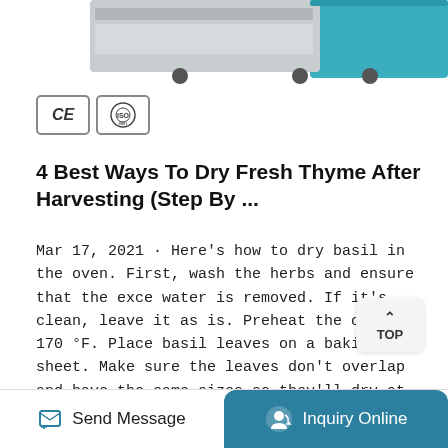[Figure (photo): Partial view of laboratory or industrial drying/oven equipment in grey and teal color, cropped at top of page]
[Figure (logo): CE certification mark and ISO certification mark badges in bordered boxes]
4 Best Ways To Dry Fresh Thyme After Harvesting (Step By ...
Mar 17, 2021 · Here's how to dry basil in the oven. First, wash the herbs and ensure that the excess water is removed. If it's clean, leave it as is. Preheat the oven to 170 °F. Place basil leaves on a baking sheet. Make sure the leaves don't overlap and have the same sizes so they'll dry at the same time. Bake them for 45 minutes.
[Figure (other): TOP scroll-to-top button with upward caret arrow]
Learn More
Send Message   Inquiry Online